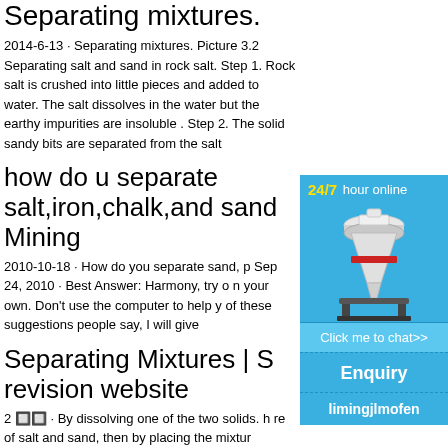Separating mixtures.
2014-6-13 · Separating mixtures. Picture 3.2 Separating salt and sand in rock salt. Step 1. Rock salt is crushed into little pieces and added to water. The salt dissolves in the water but the earthy impurities are insoluble . Step 2. The solid sandy bits are separated from the salt
how do u separate salt,iron,chalk,and sand Mining
2010-10-18 · How do you separate sand, p Sep 24, 2010 · Best Answer: Harmony, try o n your own. Don't use the computer to help y of these suggestions people say, I will give
Separating Mixtures | S revision website
2 🔲🔲 · By dissolving one of the two solids. h re of salt and sand, then by placing the mixtur
[Figure (photo): Advertisement panel with blue background showing a mining/crushing machine, 24/7 hour online text, Click me to chat>> button, Enquiry section, and limingjlmofen text]